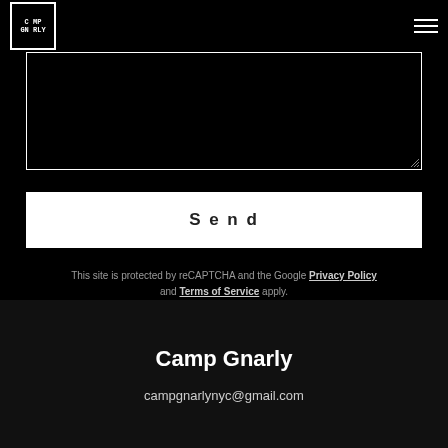Camp Gnarly logo and navigation menu
[Figure (screenshot): Text input/textarea field with black background and white border, with resize handle at bottom right]
[Figure (screenshot): Send button - white rectangle with 'Send' text in dark color]
This site is protected by reCAPTCHA and the Google Privacy Policy and Terms of Service apply.
Camp Gnarly
campgnarlynyc@gmail.com